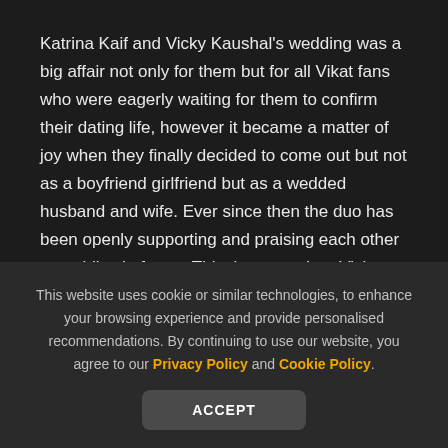Katrina Kaif and Vicky Kaushal's wedding was a big affair not only for them but for all Vikat fans who were eagerly waiting for them to confirm their dating life, however it became a matter of joy when they finally decided to come out but not as a boyfriend girlfriend but as a wedded husband and wife. Ever since then the duo has been openly supporting and praising each other on public platforms. This time too when Vicky Kaushal registered his big win at IIFA 2022 technical
This website uses cookie or similar technologies, to enhance your browsing experience and provide personalised recommendations. By continuing to use our website, you agree to our Privacy Policy and Cookie Policy.
ACCEPT